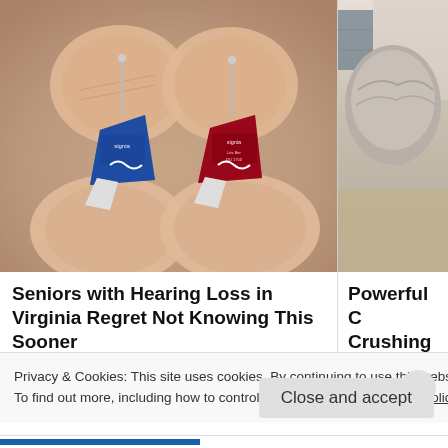[Figure (photo): Two small hearing aids (one blue, one red, both branded Signia) held between fingers against a blurred background. Left image panel.]
[Figure (photo): Partial view of a person with grey hair, right image panel, partially cropped.]
Seniors with Hearing Loss in Virginia Regret Not Knowing This Sooner
Powerful C Crushing t
Privacy & Cookies: This site uses cookies. By continuing to use this website, you agree to their use.
To find out more, including how to control cookies, see here: Cookie Policy
Close and accept